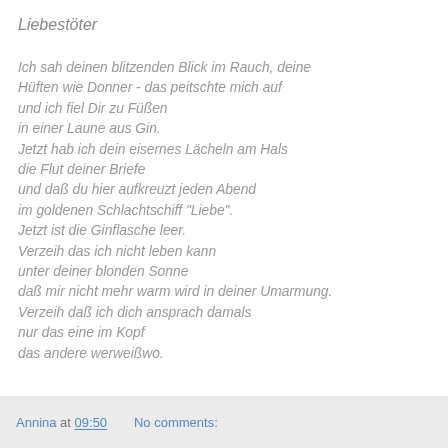Liebestöter
Ich sah deinen blitzenden Blick im Rauch, deine Hüften wie Donner - das peitschte mich auf
und ich fiel Dir zu Füßen
in einer Laune aus Gin.
Jetzt hab ich dein eisernes Lächeln am Hals
die Flut deiner Briefe
und daß du hier aufkreuzt jeden Abend
im goldenen Schlachtschiff "Liebe".
Jetzt ist die Ginflasche leer.
Verzeih das ich nicht leben kann
unter deiner blonden Sonne
daß mir nicht mehr warm wird in deiner Umarmung.
Verzeih daß ich dich ansprach damals
nur das eine im Kopf
das andere werweißwo.
Annina at 09:50    No comments: